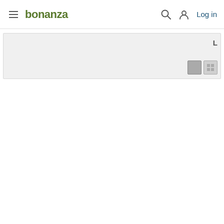bonanza  Log in
[Figure (screenshot): Bonanza website header with hamburger menu, bonanza logo in olive green, search icon, user account icon, and Log in link. Below is a light gray toolbar/filter bar with view toggle buttons (grid/list icons) on the right side.]